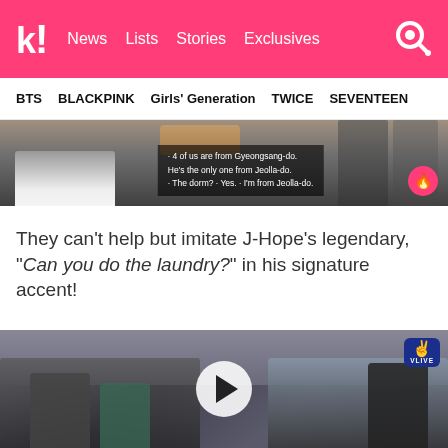k! News Lists Stories Exclusives
BTS BLACKPINK Girls' Generation TWICE SEVENTEEN
[Figure (screenshot): Video screenshot showing people seated, with subtitle text: '4 of us are from Gyeongsang-do. He's the only one from Jeolla-do. - The dorm? - Yes. - I'm from Jeolla-do.']
They can't help but imitate J-Hope's legendary, "Can you do the laundry?" in his signature accent!
[Figure (screenshot): Video screenshot of BTS members seated in a room, shown with a play button overlay and V LIVE badge in upper right corner.]